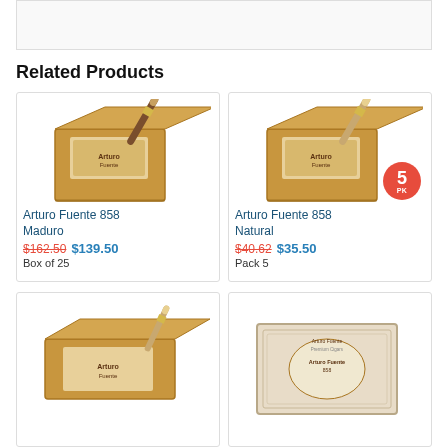Related Products
[Figure (photo): Arturo Fuente 858 Maduro cigar box with a cigar resting on top]
Arturo Fuente 858 Maduro
$162.50  $139.50
Box of 25
[Figure (photo): Arturo Fuente 858 Natural cigar box with a cigar resting on top and a 5PK badge]
Arturo Fuente 858 Natural
$40.62  $35.50
Pack 5
[Figure (photo): Arturo Fuente cigar box bottom left]
[Figure (photo): Arturo Fuente cigar box bottom right with label visible]